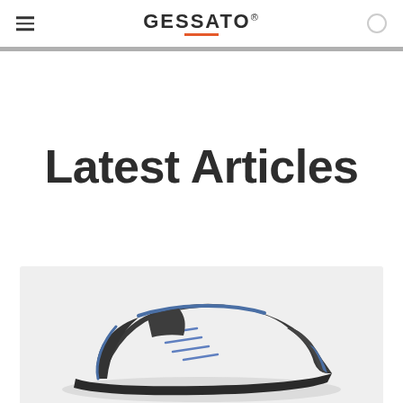GESSATO
Latest Articles
[Figure (photo): A dark grey and blue sneaker/shoe photographed against a light grey background, shown from a side-angle view]